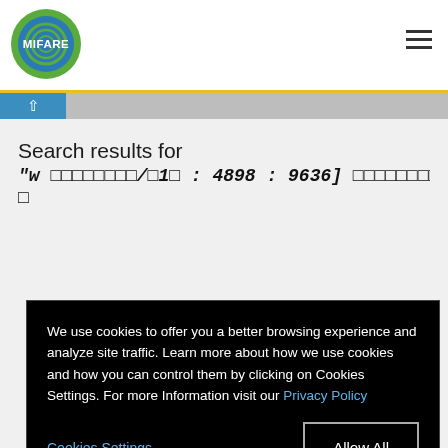[Figure (logo): MIFARE logo — circular green/blue logo with MIFARE text]
MIFARE website header with logo and hamburger menu
Search results for
"w □□□□□□□□/□1□ : 4898 : 9636] □□□□□□□□□ □□□□□□□□ #□
We use cookies to offer you a better browsing experience and analyze site traffic. Learn more about how we use cookies and how you can control them by clicking on Cookies Settings. For more Information visit our Privacy Policy
Cookies Settings
Allow All